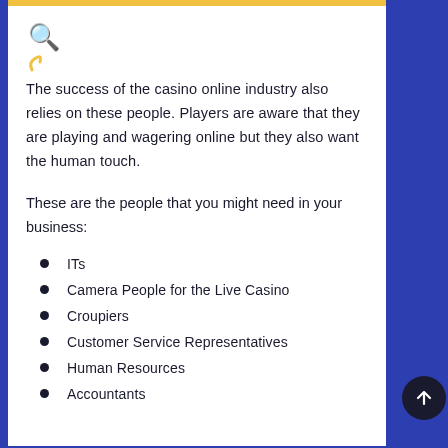The success of the casino online industry also relies on these people. Players are aware that they are playing and wagering online but they also want the human touch.
These are the people that you might need in your business:
ITs
Camera People for the Live Casino
Croupiers
Customer Service Representatives
Human Resources
Accountants